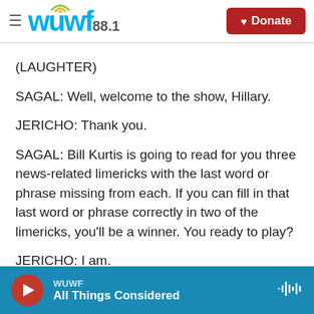WUWF 88.1 — Donate
(LAUGHTER)
SAGAL: Well, welcome to the show, Hillary.
JERICHO: Thank you.
SAGAL: Bill Kurtis is going to read for you three news-related limericks with the last word or phrase missing from each. If you can fill in that last word or phrase correctly in two of the limericks, you'll be a winner. You ready to play?
JERICHO: I am.
WUWF — All Things Considered